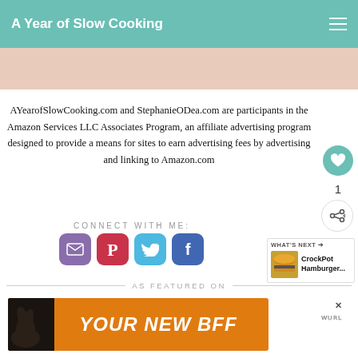A Year of Slow Cooking
AYearofSlowCooking.com and StephanieODea.com are participants in the Amazon Services LLC Associates Program, an affiliate advertising program designed to provide a means for sites to earn advertising fees by advertising and linking to Amazon.com
CONNECT WITH ME:
[Figure (infographic): Social media icons: email (purple), Pinterest (red), Twitter (blue), Facebook (blue)]
What's Next → CrockPot Hamburger...
AS FEATURED ON
[Figure (photo): Advertisement banner with dog image and text YOUR NEW BFF on orange background]